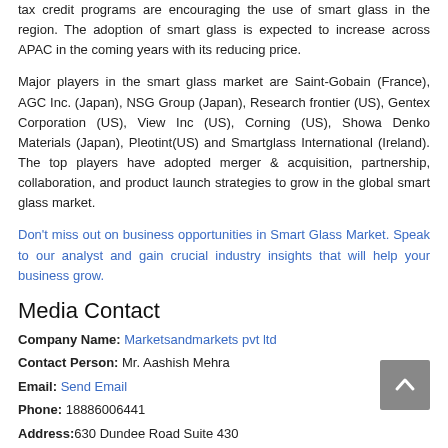tax credit programs are encouraging the use of smart glass in the region. The adoption of smart glass is expected to increase across APAC in the coming years with its reducing price.
Major players in the smart glass market are Saint-Gobain (France), AGC Inc. (Japan), NSG Group (Japan), Research frontier (US), Gentex Corporation (US), View Inc (US), Corning (US), Showa Denko Materials (Japan), Pleotint(US) and Smartglass International (Ireland). The top players have adopted merger & acquisition, partnership, collaboration, and product launch strategies to grow in the global smart glass market.
Don't miss out on business opportunities in Smart Glass Market. Speak to our analyst and gain crucial industry insights that will help your business grow.
Media Contact
Company Name: Marketsandmarkets pvt ltd
Contact Person: Mr. Aashish Mehra
Email: Send Email
Phone: 18886006441
Address:630 Dundee Road Suite 430
City: Northbrook
State: IL 60062
Country: United States